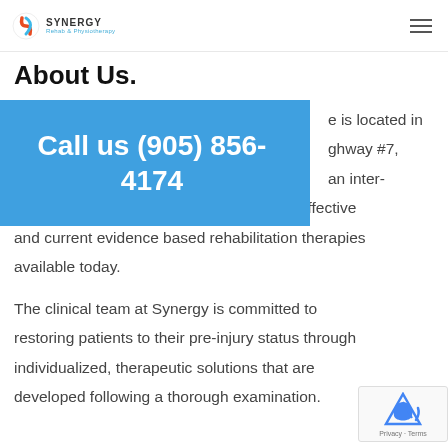SYNERGY Rehab & Physiotherapy
About Us.
[Figure (infographic): Blue call-to-action banner: 'Call us (905) 856-4174']
...e is located in ...ghway #7, ...an inter-disciplinary rehabilitation clinic that offers effective and current evidence based rehabilitation therapies available today.
The clinical team at Synergy is committed to restoring patients to their pre-injury status through individualized, therapeutic solutions that are developed following a thorough examination.